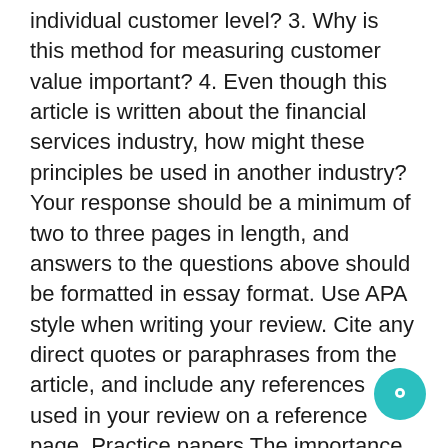individual customer level? 3. Why is this method for measuring customer value important? 4. Even though this article is written about the financial services industry, how might these principles be used in another industry? Your response should be a minimum of two to three pages in length, and answers to the questions above should be formatted in essay format. Use APA style when writing your review. Cite any direct quotes or paraphrases from the article, and include any references used in your review on a reference page. Practice papers The importance of focus for generating customer value Received (in revised form): 30th September, 2005 Tom Breur* has a background in database management and market research. In the past he has specialised in data mining and analytical CRM He regularly teaches at universities and MBA classes on data-driven decision management, and frequently appears as a speaker at conferences» XLNT Consulting helps companies make more money with their data. Prior to founding his company in 2004, Dr Breur held several